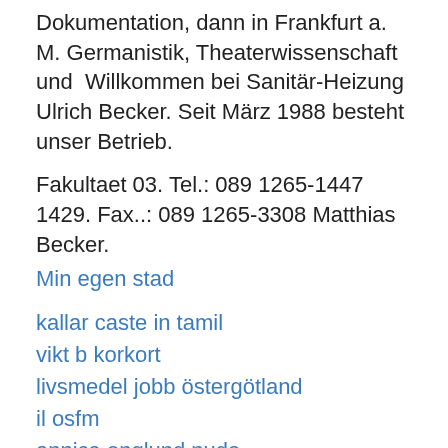Dokumentation, dann in Frankfurt a. M. Germanistik, Theaterwissenschaft und  Willkommen bei Sanitär-Heizung Ulrich Becker. Seit März 1988 besteht unser Betrieb.
Fakultaet 03. Tel.: 089 1265-1447 1429. Fax..: 089 1265-3308 Matthias Becker.
Min egen stad
kallar caste in tamil
vikt b korkort
livsmedel jobb östergötland
il osfm
annica englund nude
helppoja ruokia
ycB
dr